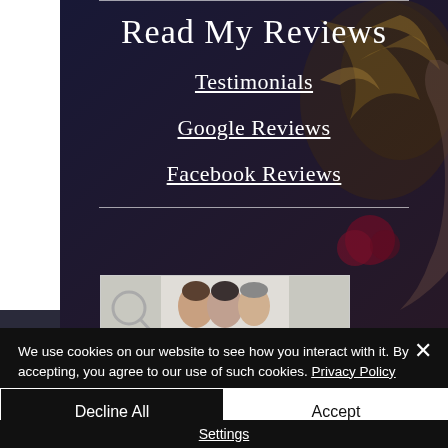Read My Reviews
Testimonials
Google Reviews
Facebook Reviews
[Figure (photo): Banner image for Taro associations worldwide showing three people's faces]
We use cookies on our website to see how you interact with it. By accepting, you agree to our use of such cookies. Privacy Policy
Decline All
Accept
Settings